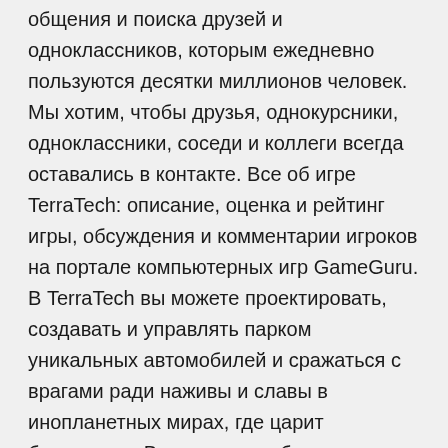общения и поиска друзей и одноклассников, которым ежедневно пользуются десятки миллионов человек. Мы хотим, чтобы друзья, однокурсники, одноклассники, соседи и коллеги всегда оставались в контакте. Все об игре TerraTech: описание, оценка и рейтинг игры, обсуждения и комментарии игроков на портале компьютерных игр GameGuru. В TerraTech вы можете проектировать, создавать и управлять парком уникальных автомобилей и сражаться с врагами ради наживы и славы в инопланетных мирах, где царит беззаконие. В отдаленном будущем, когда человечество исчерпало все природные ресурсы Земли
Han pasado más de 30 días desde que te hiciste ratosoci@ del Club Geronimo Stilton y aún no hemos